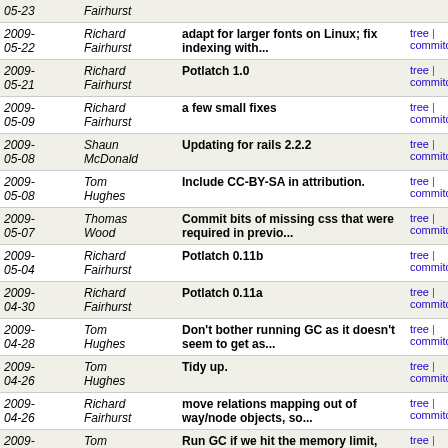| Date | Author | Message | Links |
| --- | --- | --- | --- |
| 2009-05-23 | Fairhurst |  | tree | commitdiff |
| 2009-05-22 | Richard Fairhurst | adapt for larger fonts on Linux; fix indexing with... | tree | commitdiff |
| 2009-05-21 | Richard Fairhurst | Potlatch 1.0 | tree | commitdiff |
| 2009-05-09 | Richard Fairhurst | a few small fixes | tree | commitdiff |
| 2009-05-08 | Shaun McDonald | Updating for rails 2.2.2 | tree | commitdiff |
| 2009-05-08 | Tom Hughes | Include CC-BY-SA in attribution. | tree | commitdiff |
| 2009-05-07 | Thomas Wood | Commit bits of missing css that were required in previo... | tree | commitdiff |
| 2009-05-04 | Richard Fairhurst | Potlatch 0.11b | tree | commitdiff |
| 2009-04-30 | Richard Fairhurst | Potlatch 0.11a | tree | commitdiff |
| 2009-04-28 | Tom Hughes | Don't bother running GC as it doesn't seem to get as... | tree | commitdiff |
| 2009-04-26 | Tom Hughes | Tidy up. | tree | commitdiff |
| 2009-04-26 | Richard Fairhurst | move relations mapping out of way/node objects, so... | tree | commitdiff |
| 2009-04-26 | Tom Hughes | Run GC if we hit the memory limit, and only restart... | tree | commitdiff |
| 2009-04-26 | Tom Hughes | Increase the hard memory limit and set a lower soft... | tree | commitdiff |